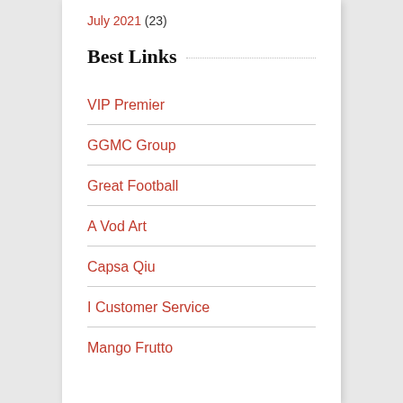July 2021 (23)
Best Links
VIP Premier
GGMC Group
Great Football
A Vod Art
Capsa Qiu
I Customer Service
Mango Frutto